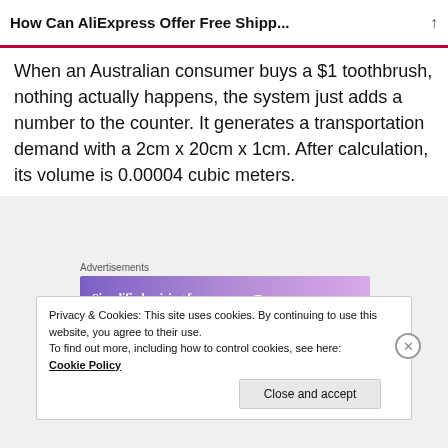How Can AliExpress Offer Free Shipp...
When an Australian consumer buys a $1 toothbrush, nothing actually happens, the system just adds a number to the counter. It generates a transportation demand with a 2cm x 20cm x 1cm. After calculation, its volume is 0.00004 cubic meters.
[Figure (other): WordPress.com advertisement banner with text 'Simplified pricing for everything you need.' and WordPress.com logo on gradient purple background]
Privacy & Cookies: This site uses cookies. By continuing to use this website, you agree to their use.
To find out more, including how to control cookies, see here: Cookie Policy
Close and accept